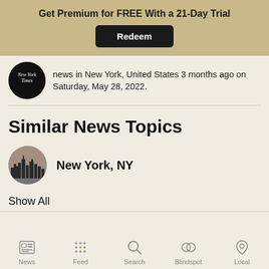Get Premium for FREE With a 21-Day Trial
Redeem
news in New York, United States 3 months ago on Saturday, May 28, 2022.
Similar News Topics
New York, NY
Show All
News  Feed  Search  Blindspot  Local